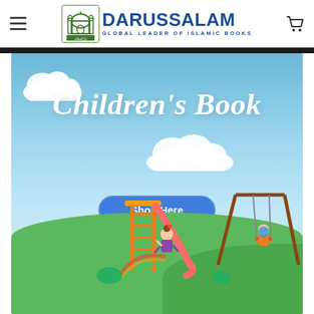[Figure (logo): Darussalam logo with mosque icon and Arabic text]
DARUSSALAM
GLOBAL LEADER OF ISLAMIC BOOKS
[Figure (illustration): Children's Book promotional banner with sky background, clouds, playground scene with children on slide and swing, and a 'Shop Here' button]